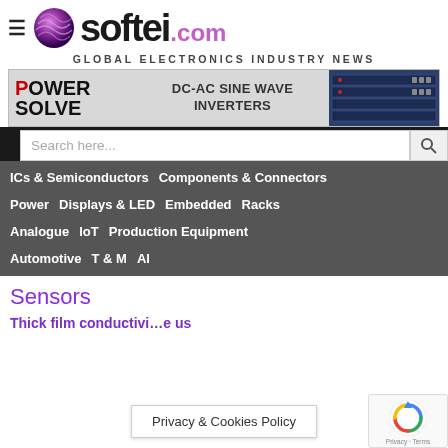[Figure (logo): softei.com logo with globe icon and tagline GLOBAL ELECTRONICS INDUSTRY NEWS]
[Figure (photo): Power Solve DC-AC Sine Wave Inverters banner advertisement with rack-mount inverter product image]
Search here...
ICs & Semiconductors
Components & Connectors
Power
Displays & LED
Embedded
Racks
Analogue
IoT
Production Equipment
Automotive
T & M
AI
Sensors
Thick film conductivi…e us
Privacy & Cookies Policy